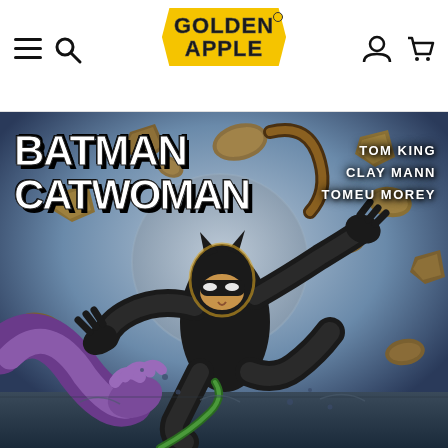Golden Apple — navigation header with hamburger menu, search, account, and cart icons
[Figure (illustration): Batman/Catwoman comic book cover featuring Catwoman in a black suit with cat ears leaping forward dynamically, a purple-gloved villain's arm outstretched to the left, rocky debris floating in a blue-grey atmospheric background. Creators listed: Tom King, Clay Mann, Tomeu Morey. Published by DC Comics.]